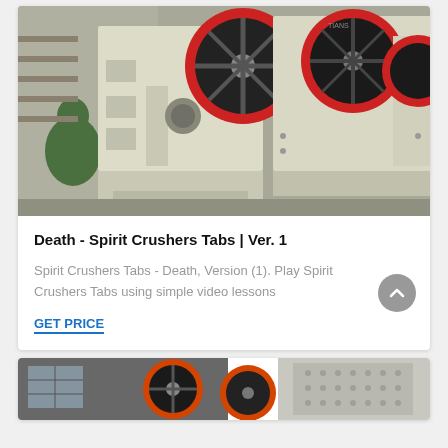[Figure (photo): Industrial jaw crusher machines lined up in a factory/warehouse. Large beige/cream colored heavy machinery with red and black flywheels visible. A worker in green protective clothing is visible on the left side.]
Death - Spirit Crushers Tabs | Ver. 1
Spirit Crushers Tabs - Death, Version (1). Play Spirit Crushers Tabs using simple video lessons
GET PRICE
[Figure (photo): Another view of industrial crusher equipment, with orange/red colored circular flywheel components visible, set in an industrial environment.]